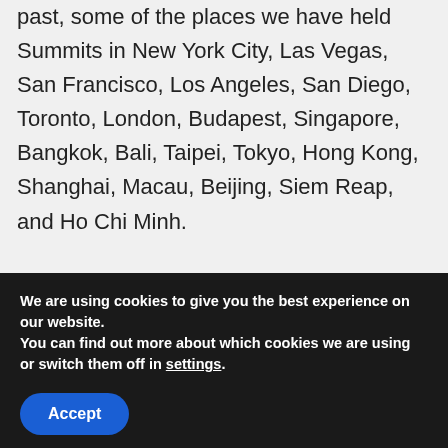past, some of the places we have held Summits in New York City, Las Vegas, San Francisco, Los Angeles, San Diego, Toronto, London, Budapest, Singapore, Bangkok, Bali, Taipei, Tokyo, Hong Kong, Shanghai, Macau, Beijing, Siem Reap, and Ho Chi Minh.
While you are not required or even expected to attend every Summit, we do
We are using cookies to give you the best experience on our website.
You can find out more about which cookies we are using or switch them off in settings.
Accept